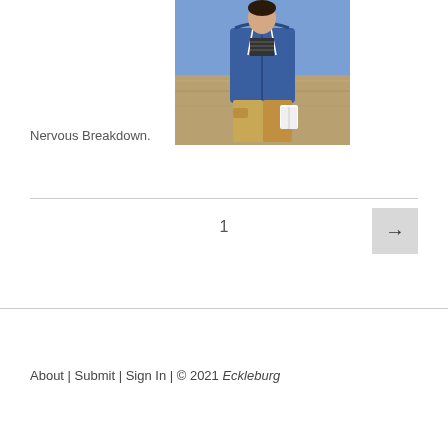[Figure (photo): A man wearing a blue zip-up hoodie and khaki pants standing outdoors holding what appears to be a book or notebook, with dry grass/field in the background.]
Nervous Breakdown.
1
About | Submit | Sign In | © 2021 Eckleburg